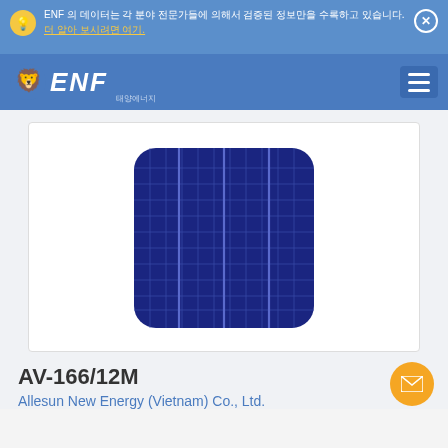ENF 의 데이터는 각 분야 전문가들에 의해서 검증된 정보만을 수록하고 있습니다. 더 알아 보시려면 여기.
[Figure (logo): ENF Solar logo with lion icon and ENF text, white on blue background with hamburger menu]
[Figure (photo): Solar cell product photo - dark blue monocrystalline silicon solar cell with grid lines, rounded corners, on white background]
AV-166/12M
Allesun New Energy (Vietnam) Co., Ltd.